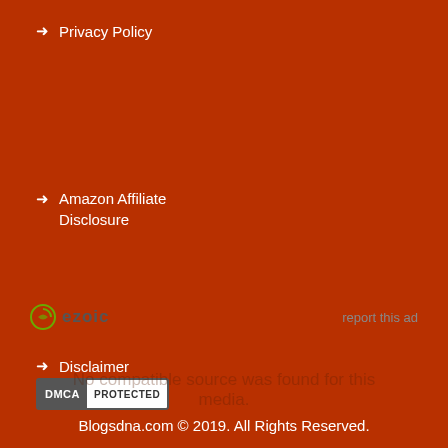Privacy Policy
Amazon Affiliate Disclosure
[Figure (logo): Ezoic logo with circular icon and text 'ezoic']
report this ad
Disclaimer
[Figure (logo): DMCA Protected badge - dark grey left panel with DMCA text, white right panel with PROTECTED text]
Blogsdna.com © 2019. All Rights Reserved.